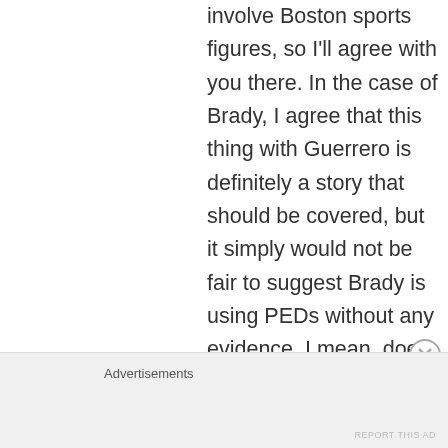involve Boston sports figures, so I'll agree with you there. In the case of Brady, I agree that this thing with Guerrero is definitely a story that should be covered, but it simply would not be fair to suggest Brady is using PEDs without any evidence. I mean, does Brady LOOK like a PED
Advertisements
REPORT THIS AD